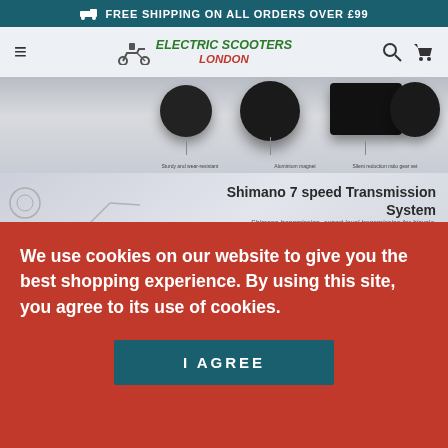FREE SHIPPING ON ALL ORDERS OVER £99
[Figure (logo): Electric Scooters London logo with scooter icon]
[Figure (photo): Wheel components product image showing sturdy and wear-resistant parts, aluminium magnet, and silent reduction ratio gear set]
[Figure (photo): Shimano 7 speed Transmission System diagram showing bicycle technical drawing with annotation: 5-7 gears, high speed, High-speed use on flat roads]
We use cookies on our website to give you the best shopping experience. By using this site, you agree to its use of cookies.